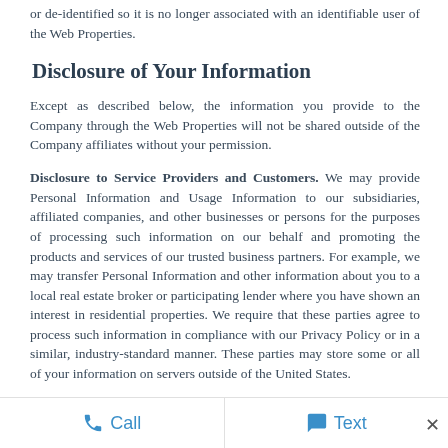or de-identified so it is no longer associated with an identifiable user of the Web Properties.
Disclosure of Your Information
Except as described below, the information you provide to the Company through the Web Properties will not be shared outside of the Company affiliates without your permission.
Disclosure to Service Providers and Customers. We may provide Personal Information and Usage Information to our subsidiaries, affiliated companies, and other businesses or persons for the purposes of processing such information on our behalf and promoting the products and services of our trusted business partners. For example, we may transfer Personal Information and other information about you to a local real estate broker or participating lender where you have shown an interest in residential properties. We require that these parties agree to process such information in compliance with our Privacy Policy or in a similar, industry-standard manner. These parties may store some or all of your information on servers outside of the United States.
Call   Text